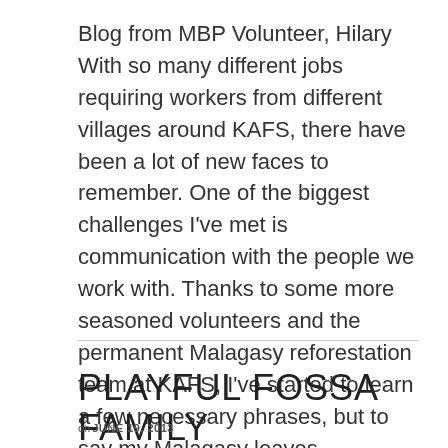Blog from MBP Volunteer, Hilary    With so many different jobs requiring workers from different villages around KAFS, there have been a lot of new faces to remember. One of the biggest challenges I've met is communication with the people we work with. Thanks to some more seasoned volunteers and the permanent Malagasy reforestation team at KAFS, I've started to learn a few necessary phrases, but to say my Malagasy leaves something to be … Read More
PLAYFUL FOSSA FAMILY
on JUNE 19, 2013